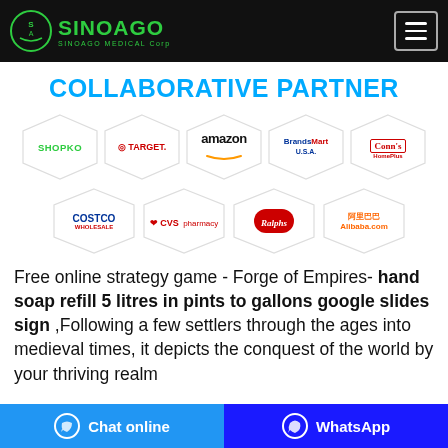SinoAgo Medical Corp
COLLABORATIVE PARTNER
[Figure (logo): Partner logos in diamond shapes: Shopko, Target, Amazon, BrandsMart USA, Conn's HomePlus, Costco, CVS Pharmacy, Ralphs, Alibaba.com]
Free online strategy game - Forge of Empires- hand soap refill 5 litres in pints to gallons google slides sign ,Following a few settlers through the ages into medieval times, it depicts the conquest of the world by your thriving realm
Chat online | WhatsApp